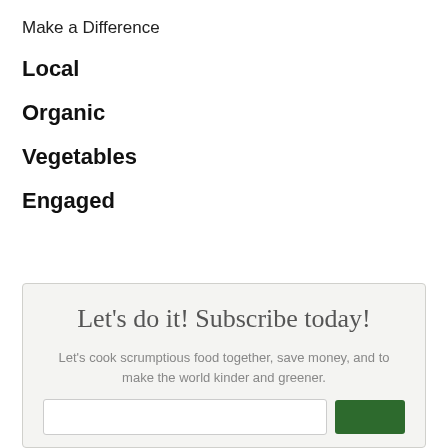Make a Difference
Local
Organic
Vegetables
Engaged
Let's do it! Subscribe today!
Let's cook scrumptious food together, save money, and to make the world kinder and greener.